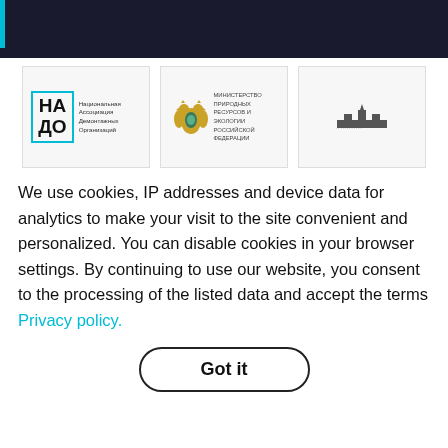[Figure (logo): Three logo cards: 1) НАДО – Национальная Ассоциация Демонтажных Организаций, with teal border box; 2) Министерство природных ресурсов и экологии Российской Федерации with golden double-headed eagle emblem; 3) Small Kremlin-like emblem on white card.]
We use cookies, IP addresses and device data for analytics to make your visit to the site convenient and personalized. You can disable cookies in your browser settings. By continuing to use our website, you consent to the processing of the listed data and accept the terms Privacy policy.
Got it